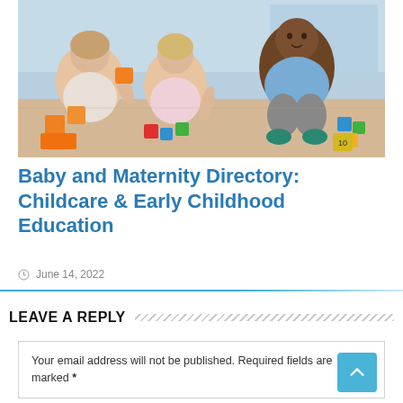[Figure (photo): Young children sitting on the floor playing with colorful building blocks in a childcare or early childhood education setting.]
Baby and Maternity Directory: Childcare & Early Childhood Education
June 14, 2022
LEAVE A REPLY
Your email address will not be published. Required fields are marked *